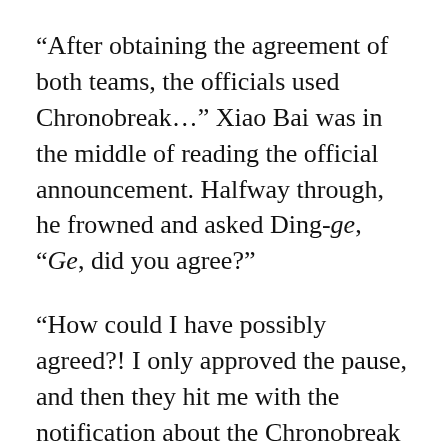“After obtaining the agreement of both teams, the officials used Chronobreak…” Xiao Bai was in the middle of reading the official announcement. Halfway through, he frowned and asked Ding-ge, “Ge, did you agree?”
“How could I have possibly agreed?! I only approved the pause, and then they hit me with the notification about the Chronobreak later!” Ding-ge waved his hand. “Whatever, let’s drop the subject. It’s ruining my appetite.”
Pine leisurely sliced open his steak as he watched the match livestream on his phone. “HT’s in a very poor condition today. They’ve been playing